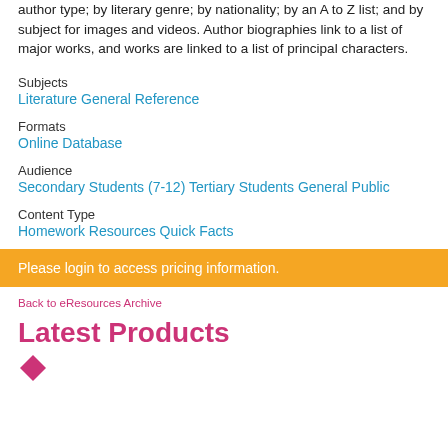author type; by literary genre; by nationality; by an A to Z list; and by subject for images and videos. Author biographies link to a list of major works, and works are linked to a list of principal characters.
Subjects
Literature General Reference
Formats
Online Database
Audience
Secondary Students (7-12) Tertiary Students General Public
Content Type
Homework Resources Quick Facts
Please login to access pricing information.
Back to eResources Archive
Latest Products